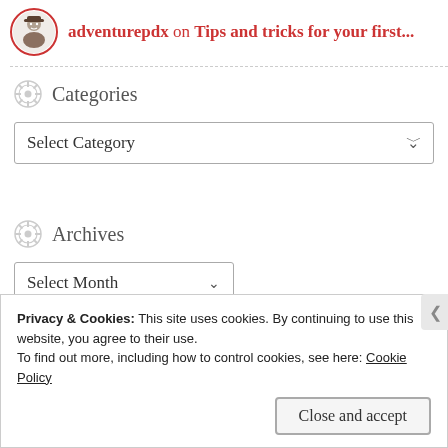adventurepdx on Tips and tricks for your first...
Categories
Select Category
Archives
Select Month
Privacy & Cookies: This site uses cookies. By continuing to use this website, you agree to their use.
To find out more, including how to control cookies, see here: Cookie Policy
Close and accept